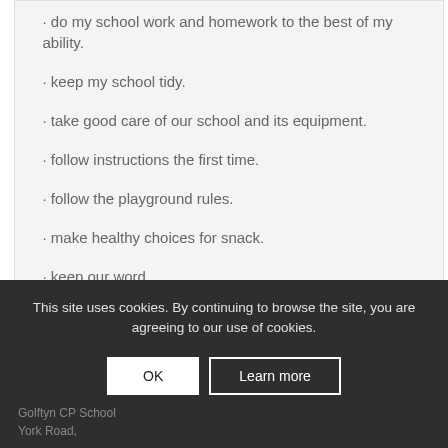· do my school work and homework to the best of my ability.
· keep my school tidy.
· take good care of our school and its equipment.
· follow instructions the first time.
· follow the playground rules.
· make healthy choices for snack.
· keep our word.
This site uses cookies. By continuing to browse the site, you are agreeing to our use of cookies.
Golftyn CP School
York Road,